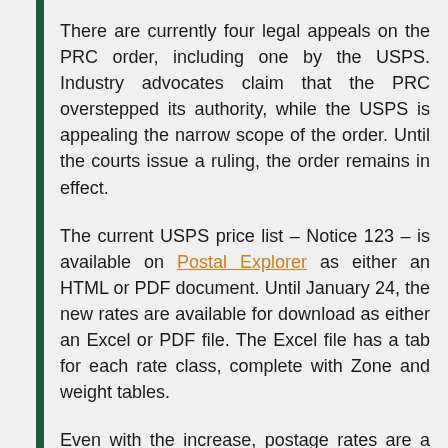There are currently four legal appeals on the PRC order, including one by the USPS. Industry advocates claim that the PRC overstepped its authority, while the USPS is appealing the narrow scope of the order. Until the courts issue a ruling, the order remains in effect.
The current USPS price list – Notice 123 – is available on Postal Explorer as either an HTML or PDF document. Until January 24, the new rates are available for download as either an Excel or PDF file. The Excel file has a tab for each rate class, complete with Zone and weight tables.
Even with the increase, postage rates are a great deal. The USPS retail rates for letter mail remain lower than our trading partners – including the countries that have privatized their posts. This is the